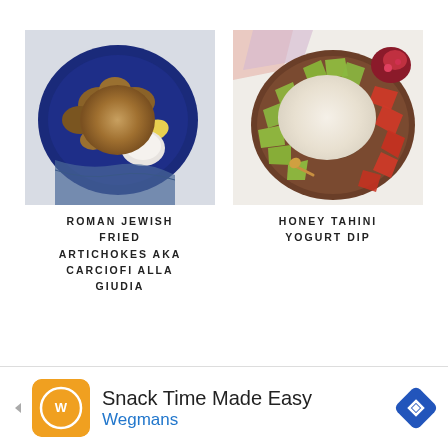[Figure (photo): Overhead photo of Roman Jewish fried artichokes on a dark blue plate with a lemon wedge and dipping sauce, with a blue cloth napkin]
ROMAN JEWISH FRIED ARTICHOKES AKA CARCIOFI ALLA GIUDIA
[Figure (photo): Overhead photo of a honey tahini yogurt dip in a bowl on a brown wooden board surrounded by sliced green and red apples and pomegranate seeds]
HONEY TAHINI YOGURT DIP
[Figure (other): Advertisement banner: Snack Time Made Easy - Wegmans, with orange square logo, navigation arrows, and blue diamond icon]